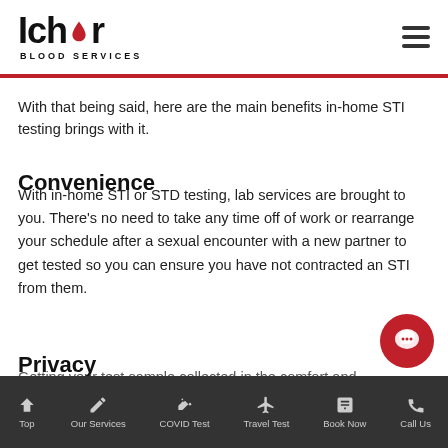Ichor Blood Services
With that being said, here are the main benefits in-home STI testing brings with it.
Convenience
With in-home STI or STD testing, lab services are brought to you. There's no need to take any time off of work or rearrange your schedule after a sexual encounter with a new partner to get tested so you can ensure you have not contracted an STI from them.
Privacy
Getting your test sample collected in the comfort and
Top | Our Services | COVID Test | Travel Test | Book Now | Call Us